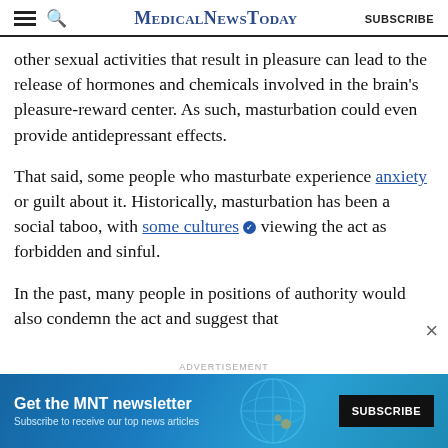MedicalNewsToday SUBSCRIBE
other sexual activities that result in pleasure can lead to the release of hormones and chemicals involved in the brain's pleasure-reward center. As such, masturbation could even provide antidepressant effects.
That said, some people who masturbate experience anxiety or guilt about it. Historically, masturbation has been a social taboo, with some cultures viewing the act as forbidden and sinful.
In the past, many people in positions of authority would also condemn the act and suggest that
[Figure (screenshot): Advertisement banner: Get the MNT newsletter - Subscribe to receive our top news articles - SUBSCRIBE button, teal/blue background with globe graphic]